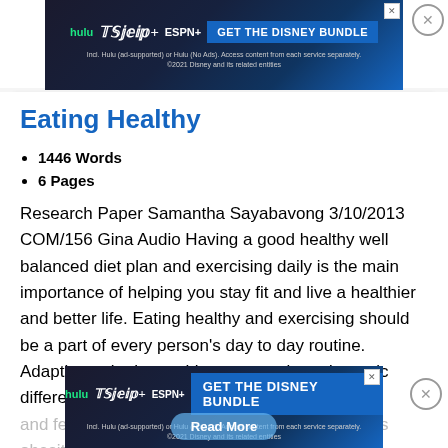[Figure (screenshot): Hulu Disney+ ESPN+ GET THE DISNEY BUNDLE advertisement banner at top of page]
Eating Healthy
1446 Words
6 Pages
Research Paper Samantha Sayabavong 3/10/2013 COM/156 Gina Audio Having a good healthy well balanced diet plan and exercising daily is the main importance of helping you stay fit and live a healthier and better life. Eating healthy and exercising should be a part of every person’s day to day routine. Adapting to both can things can make a dramatic difference in how you look and feel. It can also prevent many things such as obesity, which
[Figure (screenshot): Hulu Disney+ ESPN+ GET THE DISNEY BUNDLE advertisement banner at bottom of page]